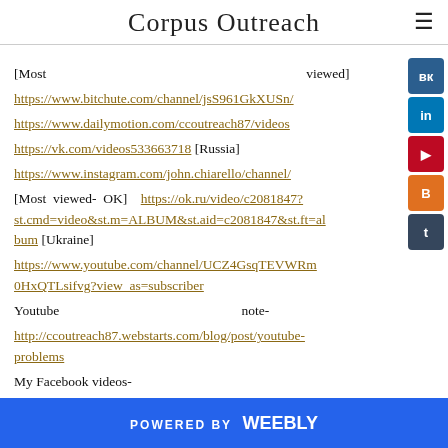Corpus Outreach
[Most   viewed]
https://www.bitchute.com/channel/jsS961GkXUSn/
https://www.dailymotion.com/ccoutreach87/videos
https://vk.com/videos533663718 [Russia]
https://www.instagram.com/john.chiarello/channel/
[Most viewed- OK]  https://ok.ru/video/c2081847?st.cmd=video&st.m=ALBUM&st.aid=c2081847&st.ft=album [Ukraine]
https://www.youtube.com/channel/UCZ4GsqTEVWRm0HxQTLsifvg?view_as=subscriber
Youtube   note-
http://ccoutreach87.webstarts.com/blog/post/youtube-problems
My Facebook videos-
Profile vid...
POWERED BY  weebly